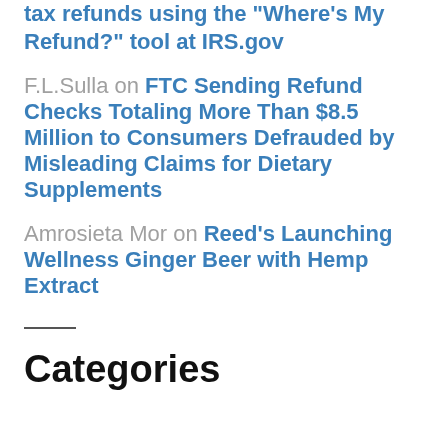tax refunds using the "Where's My Refund?" tool at IRS.gov
F.L.Sulla on FTC Sending Refund Checks Totaling More Than $8.5 Million to Consumers Defrauded by Misleading Claims for Dietary Supplements
Amrosieta Mor on Reed's Launching Wellness Ginger Beer with Hemp Extract
Categories